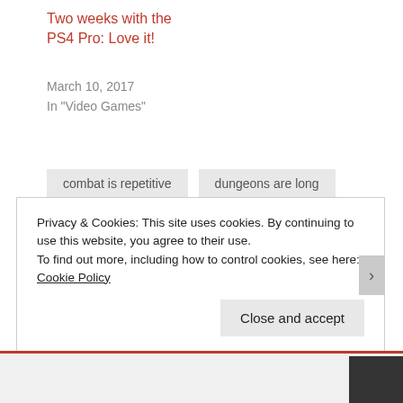Two weeks with the PS4 Pro: Love it!
March 10, 2017
In "Video Games"
combat is repetitive
dungeons are long
long dungeon
Persona 5
Privacy & Cookies: This site uses cookies. By continuing to use this website, you agree to their use.
To find out more, including how to control cookies, see here: Cookie Policy
Close and accept